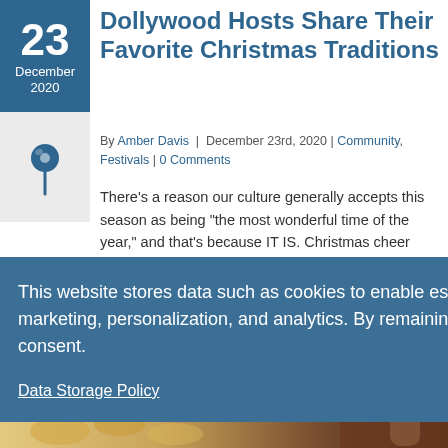23 December 2020
[Figure (illustration): Push pin / thumbtack icon on light gray background]
Dollywood Hosts Share Their Favorite Christmas Traditions
By Amber Davis | December 23rd, 2020 | Community, Festivals | 0 Comments
There's a reason our culture generally accepts this season as being "the most wonderful time of the year," and that's because IT IS. Christmas cheer softens us, ...rom the ...re freely.
ead More ›
This website stores data such as cookies to enable essential site functionality, as well as marketing, personalization, and analytics. By remaining on this website you indicate your consent.

Data Storage Policy